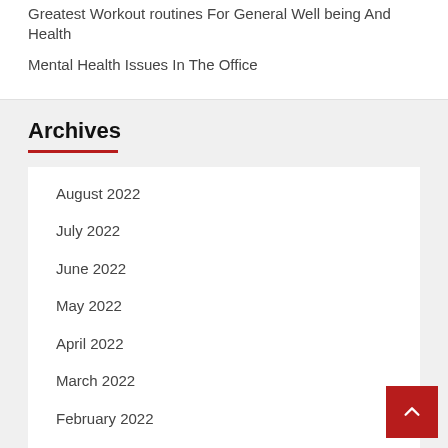Greatest Workout routines For General Well being And Health
Mental Health Issues In The Office
Archives
August 2022
July 2022
June 2022
May 2022
April 2022
March 2022
February 2022
January 2022